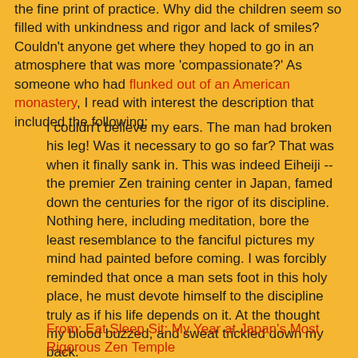the fine print of practice. Why did the children seem so filled with unkindness and rigor and lack of smiles? Couldn't anyone get where they hoped to go in an atmosphere that was more 'compassionate?' As someone who had flunked out of an American monastery, I read with interest the description that included the following:
I couldn't believe my ears. The man had broken his leg! Was it necessary to go so far? That was when it finally sank in. This was indeed Eiheiji -- the premier Zen training center in Japan, famed down the centuries for the rigor of its discipline. Nothing here, including meditation, bore the least resemblance to the fanciful pictures my mind had painted before coming. I was forcibly reminded that once a man sets foot in this holy place, he must devote himself to the discipline truly as if his life depends on it. At the thought my blood buzzed, and sweat trickled down my back.
From: Eat Sleep Sit: My Year at Japan's Most Rigorous Zen Temple